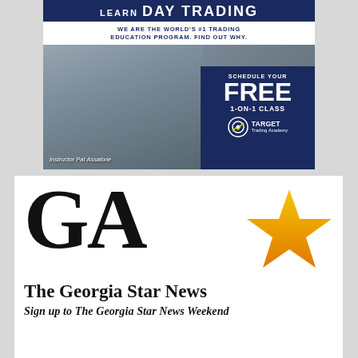[Figure (advertisement): Target Trading Academy ad: 'LEARN DAY TRADING - WE ARE THE WORLD'S #1 TRADING EDUCATION PROGRAM. FIND OUT WHY.' with photo of Instructor Pat Assalone and a blue CTA box: 'SCHEDULE YOUR FREE 1-ON-1 CLASS' with Target Trading Academy logo.]
[Figure (logo): The Georgia Star News logo: large bold 'GA' text with a star graphic in orange/yellow gradient, followed by 'The Georgia Star News' in serif bold, and subtitle 'Sign up to The Georgia Star News Weekend']